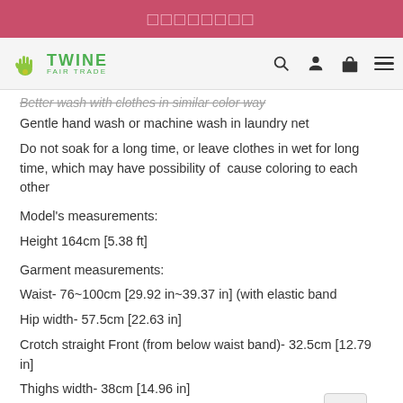□□□□□□□□
[Figure (logo): Twine Fair Trade logo with green hand icon and green text]
Better wash with clothes in similar color way
Gentle hand wash or machine wash in laundry net
Do not soak for a long time, or leave clothes in wet for long time, which may have possibility of  cause coloring to each other
Model's measurements:
Height 164cm [5.38 ft]
Garment measurements:
Waist- 76~100cm [29.92 in~39.37 in] (with elastic band
Hip width- 57.5cm [22.63 in]
Crotch straight Front (from below waist band)- 32.5cm [12.79 in]
Thighs width- 38cm [14.96 in]
Hem opening width- 22cm [8.66 in]
Total length- 87.5cm [34.44 in]